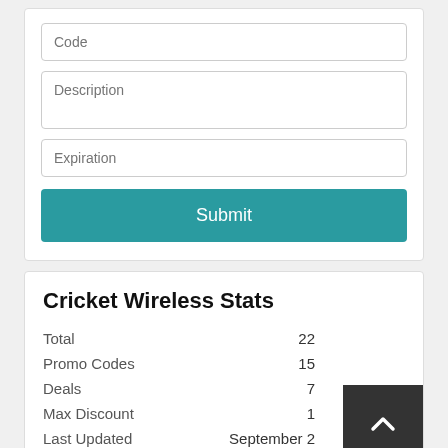[Figure (screenshot): Form with Code input, Description textarea, Expiration input, and Submit button]
Cricket Wireless Stats
| Stat | Value |
| --- | --- |
| Total | 22 |
| Promo Codes | 15 |
| Deals | 7 |
| Max Discount | 1... |
| Last Updated | September 2... |
Cricket Wireless Top Coupon Codes and Off...